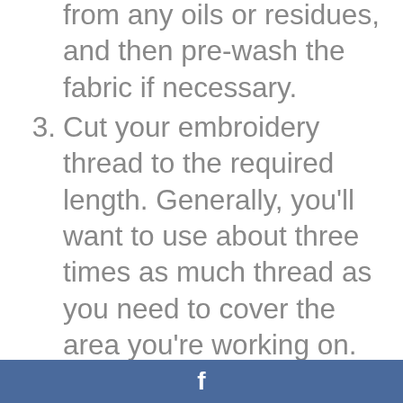from any oils or residues, and then pre-wash the fabric if necessary.
3. Cut your embroidery thread to the required length. Generally, you'll want to use about three times as much thread as you need to cover the area you're working on.
4. Thread your needle and start sewing by hand or using a machine; be sure to backtrack if you make a mistake. Be patient – embroidery is a slow process!
5. When you're finished, trim the thread close to the fabric. Don't try to cut it
f